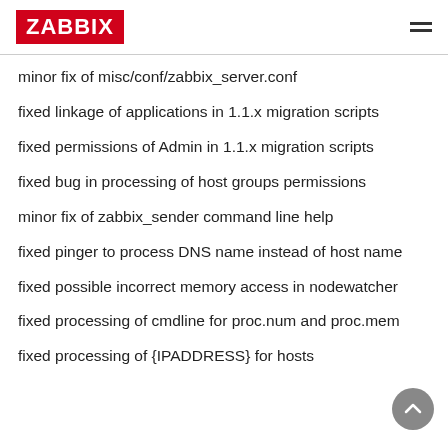ZABBIX
minor fix of misc/conf/zabbix_server.conf
fixed linkage of applications in 1.1.x migration scripts
fixed permissions of Admin in 1.1.x migration scripts
fixed bug in processing of host groups permissions
minor fix of zabbix_sender command line help
fixed pinger to process DNS name instead of host name
fixed possible incorrect memory access in nodewatcher
fixed processing of cmdline for proc.num and proc.mem
fixed processing of {IPADDRESS} for hosts